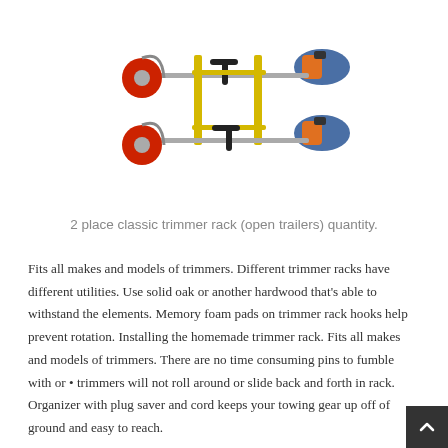[Figure (photo): Two string trimmers mounted on a classic trimmer rack with yellow vertical supports and horizontal bars. The trimmers have black handles and orange engine housings.]
2 place classic trimmer rack (open trailers) quantity.
Fits all makes and models of trimmers. Different trimmer racks have different utilities. Use solid oak or another hardwood that's able to withstand the elements. Memory foam pads on trimmer rack hooks help prevent rotation. Installing the homemade trimmer rack. Fits all makes and models of trimmers. There are no time consuming pins to fumble with or • trimmers will not roll around or slide back and forth in rack. Organizer with plug saver and cord keeps your towing gear up off of ground and easy to reach.